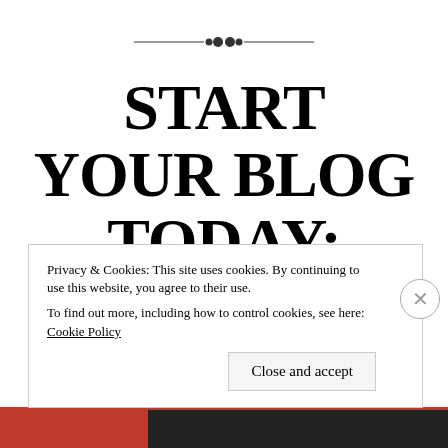[Figure (illustration): Decorative horizontal ornament/divider with dots and lines in center]
START YOUR BLOG TODAY: WHAT ARE YOU WAITING FOR?
Posted on 22/04/2015 under andragogy, art, blogging,
Privacy & Cookies: This site uses cookies. By continuing to use this website, you agree to their use.
To find out more, including how to control cookies, see here: Cookie Policy
Close and accept